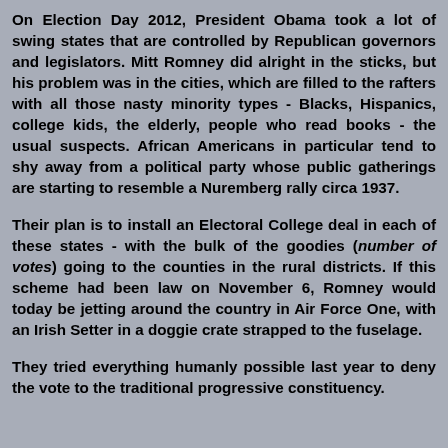On Election Day 2012, President Obama took a lot of swing states that are controlled by Republican governors and legislators. Mitt Romney did alright in the sticks, but his problem was in the cities, which are filled to the rafters with all those nasty minority types - Blacks, Hispanics, college kids, the elderly, people who read books - the usual suspects. African Americans in particular tend to shy away from a political party whose public gatherings are starting to resemble a Nuremberg rally circa 1937.
Their plan is to install an Electoral College deal in each of these states - with the bulk of the goodies (number of votes) going to the counties in the rural districts. If this scheme had been law on November 6, Romney would today be jetting around the country in Air Force One, with an Irish Setter in a doggie crate strapped to the fuselage.
They tried everything humanly possible last year to deny the vote to the traditional progressive constituency.